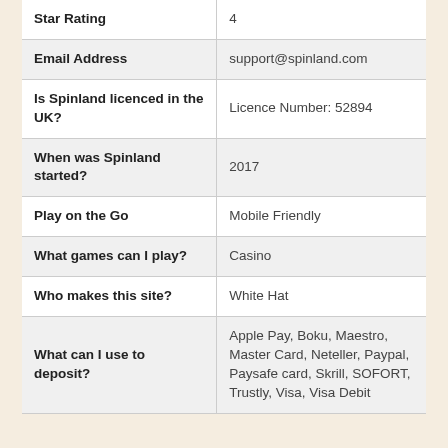|  |  |
| --- | --- |
| Star Rating | 4 |
| Email Address | support@spinland.com |
| Is Spinland licenced in the UK? | Licence Number: 52894 |
| When was Spinland started? | 2017 |
| Play on the Go | Mobile Friendly |
| What games can I play? | Casino |
| Who makes this site? | White Hat |
| What can I use to deposit? | Apple Pay, Boku, Maestro, Master Card, Neteller, Paypal, Paysafe card, Skrill, SOFORT, Trustly, Visa, Visa Debit |